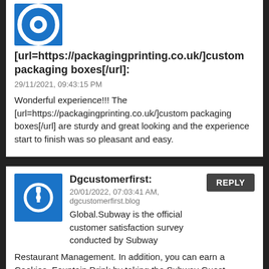[url=https://packagingprinting.co.uk/]custom packaging boxes[/url]:
29/11/2021, 09:43:15 PM
Wonderful experience!!! The [url=https://packagingprinting.co.uk/]custom packaging boxes[/url] are sturdy and great looking and the experience start to finish was so pleasant and easy.
Dgcustomerfirst:
20/01/2022, 07:03:41 AM, dgcustomerfirst.blog
Global.Subway is the official customer satisfaction survey conducted by Subway Restaurant Management. In addition, you can earn a Cookies, Fountain Drink by taking the Subway Guest Satisfaction Survey at Patronsurveys.com
patronsurveys: